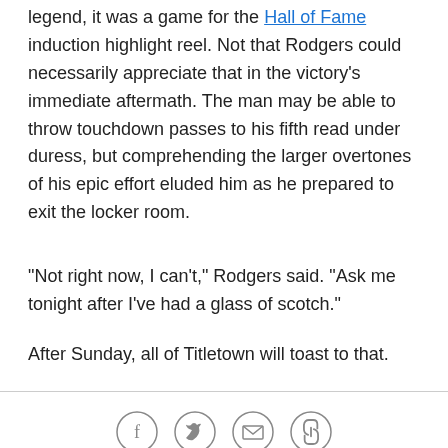legend, it was a game for the Hall of Fame induction highlight reel. Not that Rodgers could necessarily appreciate that in the victory's immediate aftermath. The man may be able to throw touchdown passes to his fifth read under duress, but comprehending the larger overtones of his epic effort eluded him as he prepared to exit the locker room.
"Not right now, I can't," Rodgers said. "Ask me tonight after I've had a glass of scotch."
After Sunday, all of Titletown will toast to that.
[Figure (infographic): Social sharing icons row: Facebook, Twitter, Email, Link]